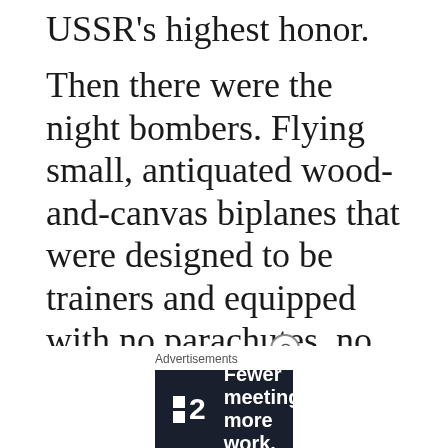USSR's highest honor.
Then there were the night bombers. Flying small, antiquated wood-and-canvas biplanes that were designed to be trainers and equipped with no parachutes, no radios, and only the most rudimentary instruments, they didn't exactly have success dropped in their laps, yet they became one of the
Advertisements
[Figure (screenshot): Advertisement banner with dark navy background showing a logo with two small squares and the number 2, followed by the text 'Fewer meetings, more work.' in white bold font.]